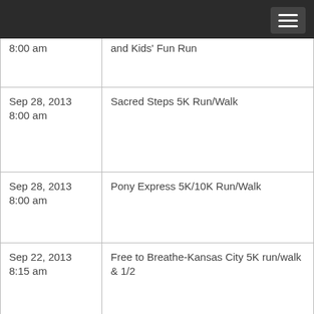| Date/Time | Event |
| --- | --- |
| 8:00 am | and Kids' Fun Run |
| Sep 28, 2013
8:00 am | Sacred Steps 5K Run/Walk |
| Sep 28, 2013
8:00 am | Pony Express 5K/10K Run/Walk |
| Sep 22, 2013
8:15 am | Free to Breathe-Kansas City 5K run/walk & 1/2 |
| Sep 22, 2013 | BIGGSteps toward Cancer |